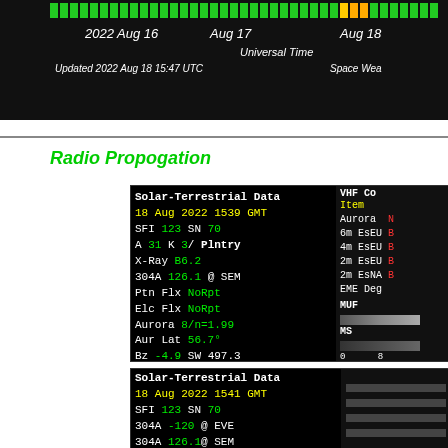[Figure (other): Space weather bar chart strip showing color-coded time bars from 2022 Aug 16 through Aug 18 Universal Time. Updated 2022 Aug 18 15:47 UTC. Space Weather header visible at right edge.]
Radio Propogation
[Figure (other): Solar-Terrestrial Data panel dated 18 Aug 2022 1539 GMT. SFI 123, SN 70, A 31, K 3/Plntry, X-Ray B6.2, 304A 126.1 @ SEM, Ptn Flx NoRpt, Elc Flx NoRpt, Aurora 8/n=1.99, Aur Lat 56.7, Bz -4.9, SW 497.3. VHF Conditions panel on right with Aurora, 6m EsEU, 4m EsEU, 2m EsEU, 2m EsNA, EME Deg, MUF and MS indicators.]
[Figure (other): Solar-Terrestrial Data panel dated 18 Aug 2022 1541 GMT. SFI 123, SN 70, 304A -120 @ EVE, 304A 126.1 @ SEM, A 31, K 3, X-Ray B6.2, Ptn Flx NoRpt, Elc Flx NoRpt. Right side partially visible.]